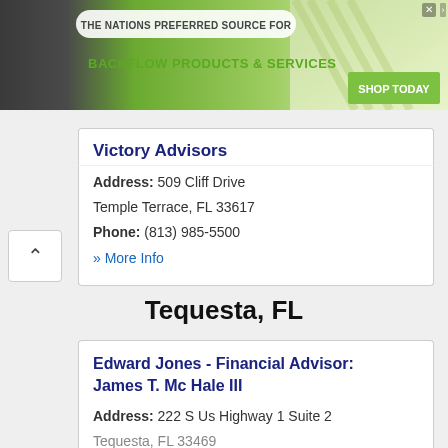[Figure (screenshot): Advertisement banner for Test Gauge Inc. showing backflow products and services with a green gradient background, company logo, and Shop Today button.]
Victory Advisors
Address: 509 Cliff Drive
Temple Terrace, FL 33617
Phone: (813) 985-5500
» More Info
Tequesta, FL
Edward Jones - Financial Advisor: James T. Mc Hale III
Address: 222 S Us Highway 1 Suite 2
Tequesta, FL 33469